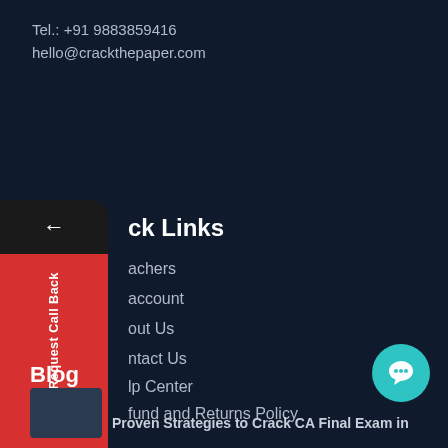Tel.: +91 9883859416
hello@crackthepaper.com
ck Links
achers
account
out Us
ntact Us
lp Center
fund and Returns Policy
Blog
Proven Strategies to Crack CA Final Exam in